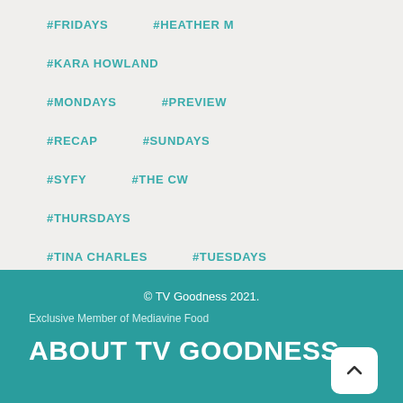#FRIDAYS
#HEATHER M
#KARA HOWLAND
#MONDAYS
#PREVIEW
#RECAP
#SUNDAYS
#SYFY
#THE CW
#THURSDAYS
#TINA CHARLES
#TUESDAYS
© TV Goodness 2021.
Exclusive Member of Mediavine Food
ABOUT TV GOODNESS